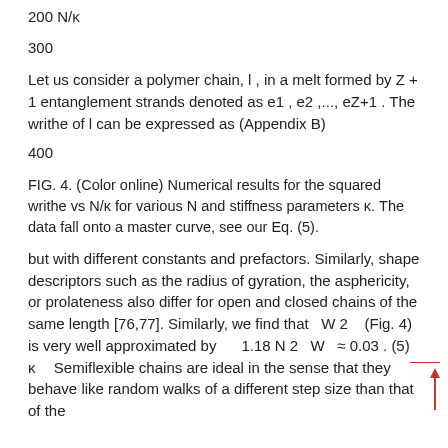200 N/κ
300
Let us consider a polymer chain, l , in a melt formed by Z + 1 entanglement strands denoted as e1 , e2 ,..., eZ+1 . The writhe of l can be expressed as (Appendix B)
400
FIG. 4. (Color online) Numerical results for the squared writhe vs N/κ for various N and stiffness parameters κ. The data fall onto a master curve, see our Eq. (5).
but with different constants and prefactors. Similarly, shape descriptors such as the radius of gyration, the asphericity, or prolateness also differ for open and closed chains of the same length [76,77]. Similarly, we find that  W 2   (Fig. 4) is very well approximated by     1.18 N 2  W  ≈ 0.03 . (5) κ  Semiflexible chains are ideal in the sense that they behave like random walks of a different step size than that of the